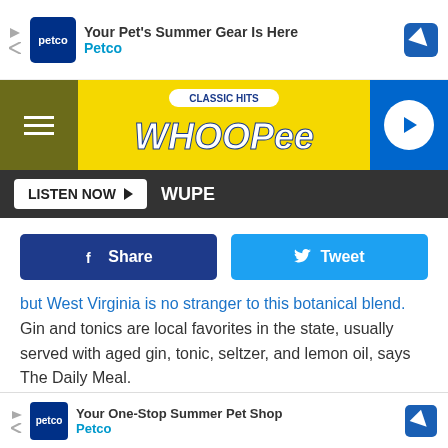[Figure (screenshot): Petco advertisement banner: Your Pet's Summer Gear Is Here, with Petco logo and navigation arrow icon]
[Figure (logo): Classic Hits WHOOPee radio station banner with yellow background, hamburger menu on left, play button on right]
LISTEN NOW  WUPE
[Figure (infographic): Facebook Share button and Twitter Tweet button]
but West Virginia is no stranger to this botanical blend. Gin and tonics are local favorites in the state, usually served with aged gin, tonic, seltzer, and lemon oil, says The Daily Meal.
[Figure (photo): Dark/black video player placeholder]
[Figure (screenshot): Petco advertisement: Your One-Stop Summer Pet Shop, Petco brand]